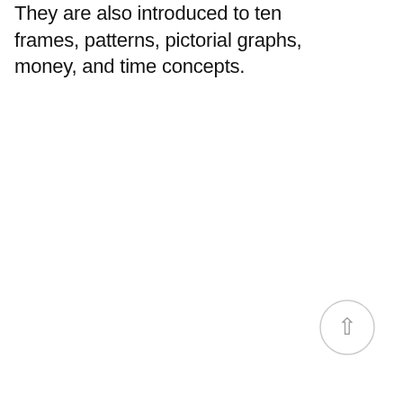They are also introduced to ten frames, patterns, pictorial graphs, money, and time concepts.
[Figure (other): A circular back-to-top button with a light gray border and an upward-pointing arrow icon in gray]